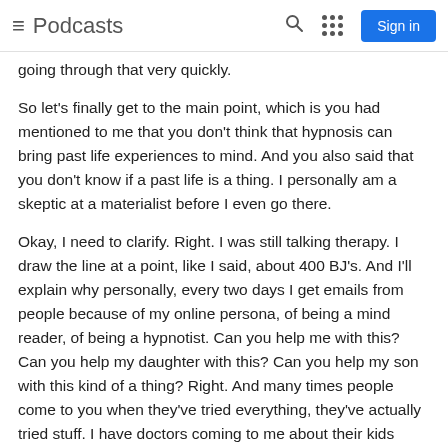≡ Podcasts  [search icon] [grid icon] Sign in
going through that very quickly.
So let's finally get to the main point, which is you had mentioned to me that you don't think that hypnosis can bring past life experiences to mind. And you also said that you don't know if a past life is a thing. I personally am a skeptic at a materialist before I even go there.
Okay, I need to clarify. Right. I was still talking therapy. I draw the line at a point, like I said, about 400 BJ's. And I'll explain why personally, every two days I get emails from people because of my online persona, of being a mind reader, of being a hypnotist. Can you help me with this? Can you help my daughter with this? Can you help my son with this kind of a thing? Right. And many times people come to you when they've tried everything, they've actually tried stuff. I have doctors coming to me about their kids because they are at a point where they want anything that might work. Now, that's where a large part of this therapy comes in. This is so called therapy because now this is beyond your normal thing of your hand is fractured, I'll reduce your pain so that you can go to the doctor